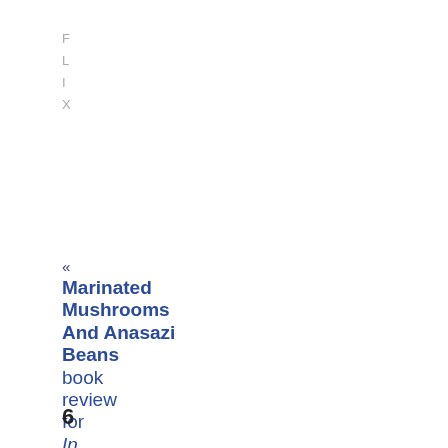F
L
I
X
« Marinated Mushrooms And Anasazi Beans book review for In This Ground by Beth Castrodale »
6